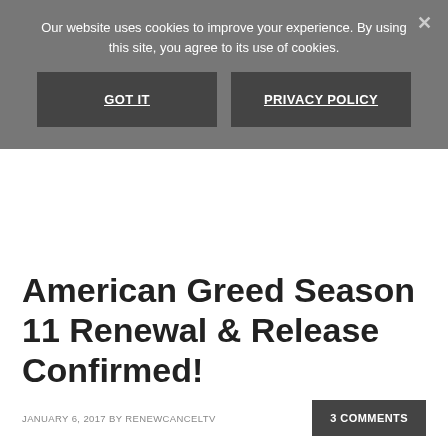Our website uses cookies to improve your experience. By using this site, you agree to its use of cookies.
GOT IT
PRIVACY POLICY
American Greed Season 11 Renewal & Release Confirmed!
JANUARY 6, 2017 BY RENEWCANCELTV
3 COMMENTS
[Figure (photo): Dark image with green tones, likely a show promotional image]
CNBC